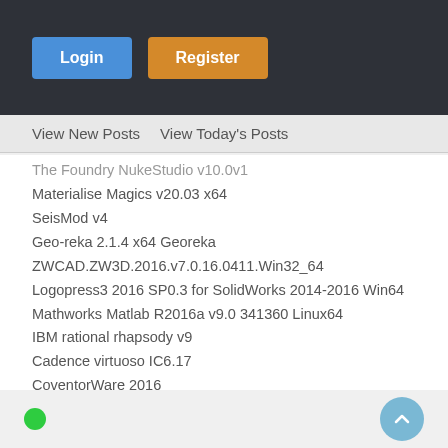Login | Register
View New Posts  View Today's Posts
The Foundry NukeStudio v10.0v1
Materialise Magics v20.03 x64
SeisMod v4
Geo-reka 2.1.4 x64 Georeka
ZWCAD.ZW3D.2016.v7.0.16.0411.Win32_64
Logopress3 2016 SP0.3 for SolidWorks 2014-2016 Win64
Mathworks Matlab R2016a v9.0 341360 Linux64
IBM rational rhapsody v9
Cadence virtuoso IC6.17
CoventorWare 2016
Etap PowerStation v20
DDDPlus v5.0
Green Mountain mesa v15